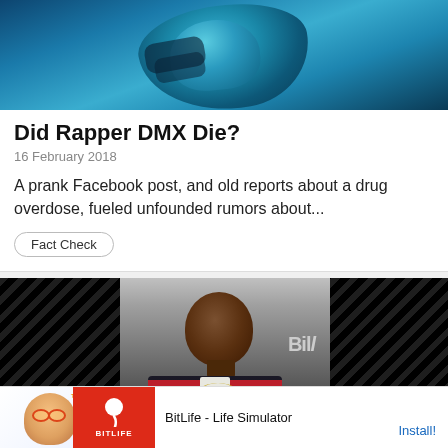[Figure (photo): Partial image of a figure with fist raised, blue-tinted concert or performance photo, cropped at top]
Did Rapper DMX Die?
16 February 2018
A prank Facebook post, and old reports about a drug overdose, fueled unfounded rumors about...
Fact Check
[Figure (photo): Photo of rapper DMX at a Billboard event, wearing a striped shirt and chain necklace, flanked by diagonal stripe overlays on left and right sides]
Ad  BitLife - Life Simulator  Install!